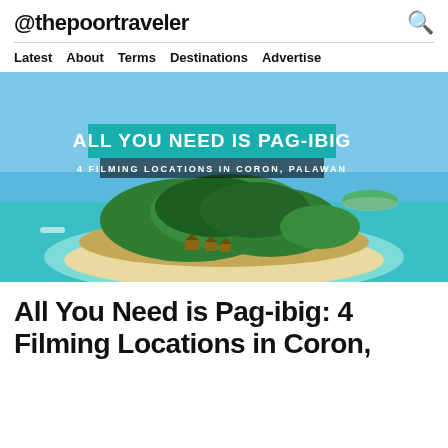@thepoortraveler
Latest  About  Terms  Destinations  Advertise
[Figure (photo): Aerial view of a tropical island in Coron, Palawan with lush green vegetation, white sandy beach, turquoise water, and overlay text reading ALL YOU NEED IS PAG-IBIG / 4 FILMING LOCATIONS IN CORON, PALAWAN]
All You Need is Pag-ibig: 4 Filming Locations in Coron,